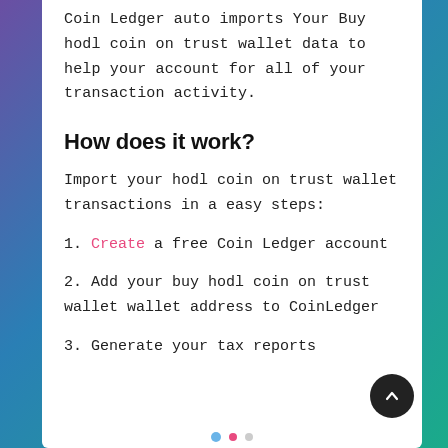Coin Ledger auto imports Your Buy hodl coin on trust wallet data to help your account for all of your transaction activity.
How does it work?
Import your hodl coin on trust wallet transactions in a easy steps:
1. Create a free Coin Ledger account
2. Add your buy hodl coin on trust wallet wallet address to CoinLedger
3. Generate your tax reports